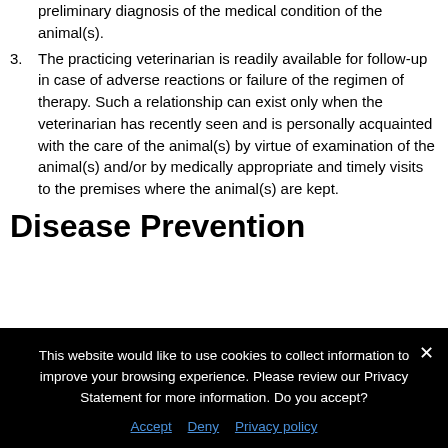preliminary diagnosis of the medical condition of the animal(s).
3. The practicing veterinarian is readily available for follow-up in case of adverse reactions or failure of the regimen of therapy. Such a relationship can exist only when the veterinarian has recently seen and is personally acquainted with the care of the animal(s) by virtue of examination of the animal(s) and/or by medically appropriate and timely visits to the premises where the animal(s) are kept.
Disease Prevention
This website would like to use cookies to collect information to improve your browsing experience. Please review our Privacy Statement for more information. Do you accept?
Accept   Deny   Privacy policy